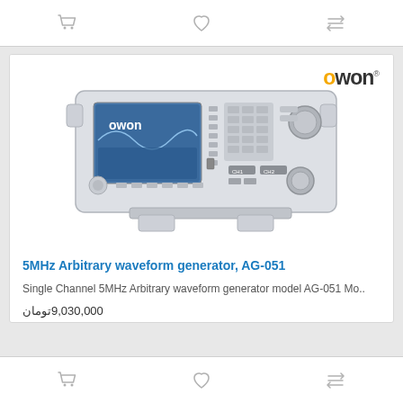toolbar with cart, heart, and compare icons
[Figure (photo): OWON AG-051 5MHz Arbitrary Waveform Generator device photo with OWON logo in top right corner]
5MHz Arbitrary waveform generator, AG-051
Single Channel 5MHz Arbitrary waveform generator model AG-051 Mo..
9,030,000 تومان
toolbar with cart, heart, and compare icons